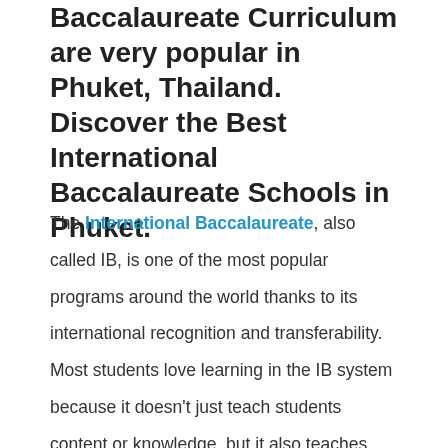Baccalaureate Curriculum are very popular in Phuket, Thailand. Discover the Best International Baccalaureate Schools in Phuket.
The International Baccalaureate, also called IB, is one of the most popular programs around the world thanks to its international recognition and transferability. Most students love learning in the IB system because it doesn't just teach students content or knowledge, but it also teaches them how to learn and how to think. Many students describe the IB curriculum as challenging, but rewarding. The PYP is